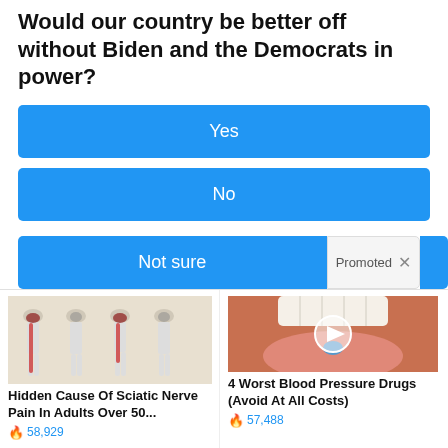Would our country be better off without Biden and the Democrats in power?
Yes
No
Not sure
[Figure (photo): Medical illustration showing human legs with red highlighted sciatic nerve pain areas in four figures]
Hidden Cause Of Sciatic Nerve Pain In Adults Over 50...
🔥 58,929
[Figure (photo): Close-up photo of a mouth with tongue out holding a small blue pill, with a play button overlay]
4 Worst Blood Pressure Drugs (Avoid At All Costs)
🔥 57,488